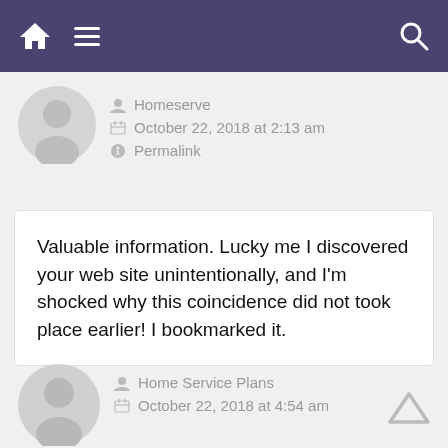[Figure (screenshot): Navigation bar with home icon, hamburger menu icon on the left, and search icon on the right, purple background]
Homeserve
October 22, 2018 at 2:13 am
Permalink
Valuable information. Lucky me I discovered your web site unintentionally, and I'm shocked why this coincidence did not took place earlier! I bookmarked it.
Home Service Plans
October 22, 2018 at 4:54 am